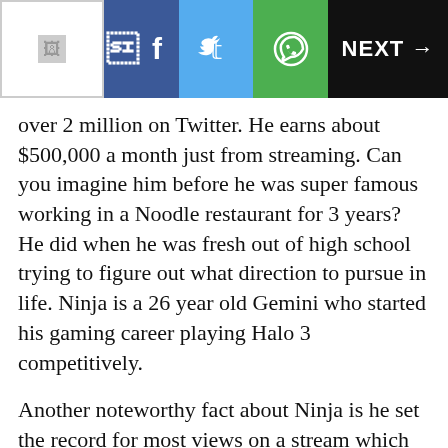[Figure (screenshot): Social media share toolbar with logo, Facebook, Twitter, WhatsApp buttons and NEXT arrow on dark background]
over 2 million on Twitter. He earns about $500,000 a month just from streaming. Can you imagine him before he was super famous working in a Noodle restaurant for 3 years? He did when he was fresh out of high school trying to figure out what direction to pursue in life. Ninja is a 26 year old Gemini who started his gaming career playing Halo 3 competitively.
Another noteworthy fact about Ninja is he set the record for most views on a stream which was in fact a Fortnite playthrough, but no ordinary one as rappers Drake and Travis Scott and NFL Juju Smith-Schuster were present.
Tyler wasn't an overnight sensation though, he